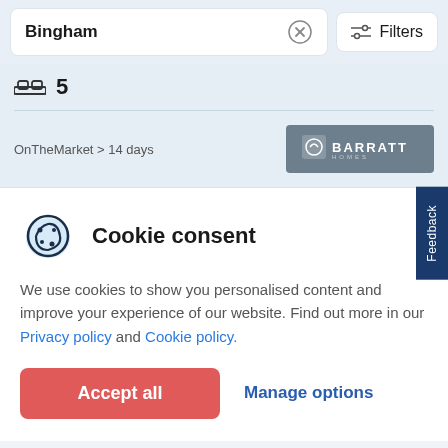Bingham
Filters
5
OnTheMarket > 14 days
[Figure (logo): Barratt Homes logo on grey background]
Cookie consent
We use cookies to show you personalised content and improve your experience of our website. Find out more in our Privacy policy and Cookie policy.
Accept all
Manage options
Feedback